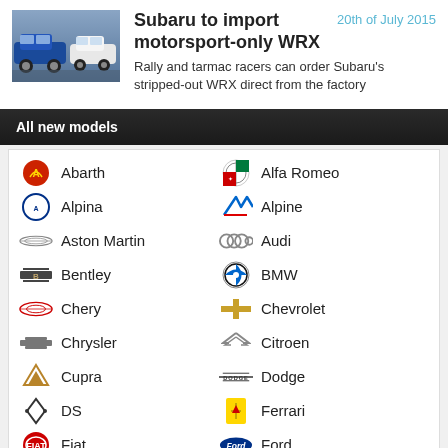[Figure (photo): Photo of Subaru WRX blue and white cars in a showroom/warehouse]
Subaru to import motorsport-only WRX
20th of July 2015
Rally and tarmac racers can order Subaru's stripped-out WRX direct from the factory
All new models
Abarth
Alfa Romeo
Alpina
Alpine
Aston Martin
Audi
Bentley
BMW
Chery
Chevrolet
Chrysler
Citroen
Cupra
Dodge
DS
Ferrari
Fiat
Ford
Foton
FPV
Great Wall
Haval